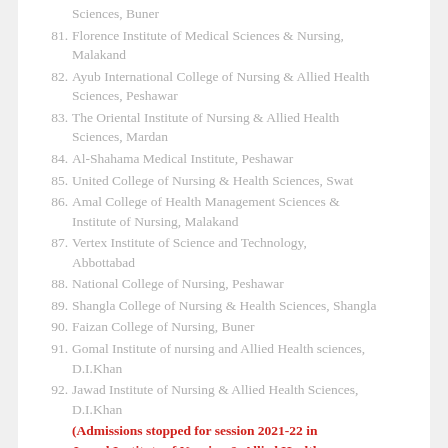Sciences, Buner
81. Florence Institute of Medical Sciences & Nursing, Malakand
82. Ayub International College of Nursing & Allied Health Sciences, Peshawar
83. The Oriental Institute of Nursing & Allied Health Sciences, Mardan
84. Al-Shahama Medical Institute, Peshawar
85. United College of Nursing & Health Sciences, Swat
86. Amal College of Health Management Sciences & Institute of Nursing, Malakand
87. Vertex Institute of Science and Technology, Abbottabad
88. National College of Nursing, Peshawar
89. Shangla College of Nursing & Health Sciences, Shangla
90. Faizan College of Nursing, Buner
91. Gomal Institute of nursing and Allied Health sciences, D.I.Khan
92. Jawad Institute of Nursing & Allied Health Sciences, D.I.Khan
(Admissions stopped for session 2021-22 in Jawad Institute of Nursing & Allied Health